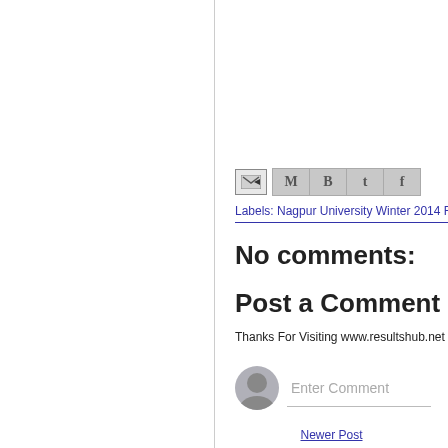[Figure (screenshot): Share icons row: email forward icon and social media icons for Gmail, Blogger, Twitter, Facebook]
Labels: Nagpur University Winter 2014 Re
No comments:
Post a Comment
Thanks For Visiting www.resultshub.net
[Figure (screenshot): Comment entry area with avatar placeholder and Enter Comment input field]
Newer Post